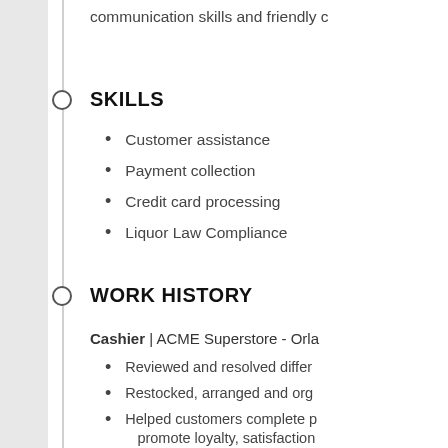communication skills and friendly c…
SKILLS
Customer assistance
Payment collection
Credit card processing
Liquor Law Compliance
WORK HISTORY
Cashier | ACME Superstore - Orla…
Reviewed and resolved differ…
Restocked, arranged and org…
Helped customers complete p… promote loyalty, satisfaction…
Checked identification for pr… underage customers.